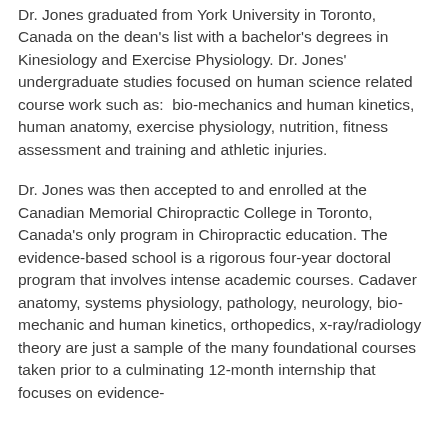Dr. Jones graduated from York University in Toronto, Canada on the dean's list with a bachelor's degrees in Kinesiology and Exercise Physiology. Dr. Jones' undergraduate studies focused on human science related course work such as:  bio-mechanics and human kinetics, human anatomy, exercise physiology, nutrition, fitness assessment and training and athletic injuries.
Dr. Jones was then accepted to and enrolled at the Canadian Memorial Chiropractic College in Toronto, Canada's only program in Chiropractic education. The evidence-based school is a rigorous four-year doctoral program that involves intense academic courses. Cadaver anatomy, systems physiology, pathology, neurology, bio-mechanic and human kinetics, orthopedics, x-ray/radiology theory are just a sample of the many foundational courses taken prior to a culminating 12-month internship that focuses on evidence-